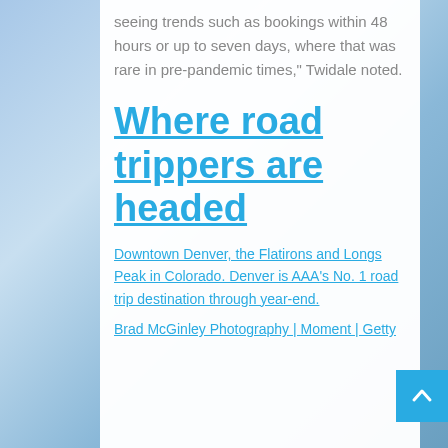seeing trends such as bookings within 48 hours or up to seven days, where that was rare in pre-pandemic times," Twidale noted.
Where road trippers are headed
Downtown Denver, the Flatirons and Longs Peak in Colorado. Denver is AAA’s No. 1 road trip destination through year-end.
Brad McGinley Photography | Moment | Getty